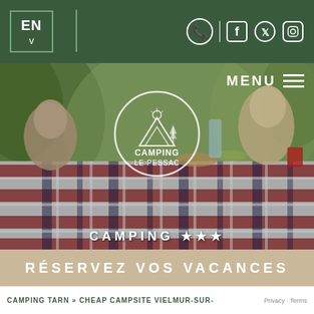EN v | [phone icon] | [facebook icon] [twitter icon] [instagram icon]
[Figure (photo): Website screenshot of Camping Le Pessac. Header with dark green background showing EN language selector and social media icons. Large hero image showing a family at a campsite picnic table with plaid tablecloth outdoors in nature. Circular logo overlay for 'Camping Le Pessac' with tent/tree illustration. MENU hamburger button top right. Text 'CAMPING ★★★' overlay at center bottom of hero.]
RÉSERVEZ VOS VACANCES
CAMPING TARN » CHEAP CAMPSITE VIELMUR-SUR-
Privacy · Terms